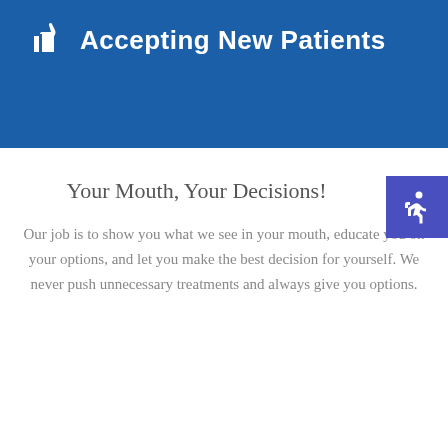Accepting New Patients
Your Mouth, Your Decisions!
Our job is to show you what we see in your mouth, educate you on your options, and let you make the best decision for yourself. We never push unnecessary treatments and always give you options.